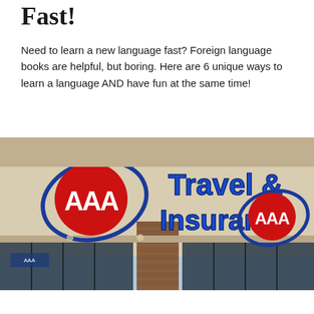Fast!
Need to learn a new language fast? Foreign language books are helpful, but boring. Here are 6 unique ways to learn a language AND have fun at the same time!
[Figure (photo): Photograph of a AAA Travel & Insurance storefront sign with red AAA logos and blue text on a beige building facade, with brick column and glass storefronts visible below.]